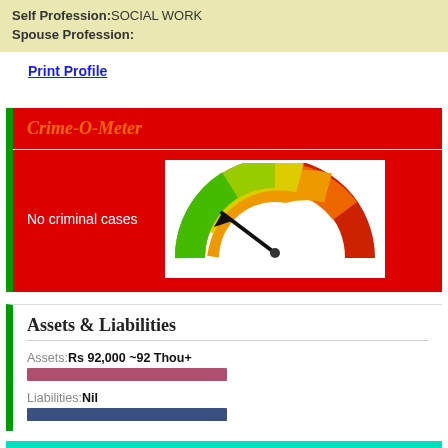Self Profession:SOCIAL WORK
Spouse Profession:
Print Profile
Crime-O-Meter
No criminal cases
[Figure (infographic): Gauge/speedometer graphic showing arrow pointing to green (low) end of a green-yellow-orange-red semicircle meter]
Assets & Liabilities
Assets:Rs 92,000 ~92 Thou+
Liabilities:Nil